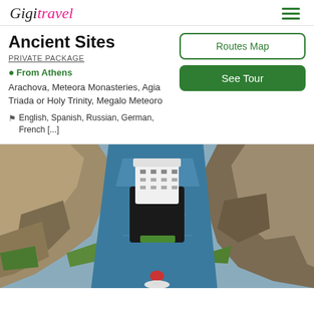Gigi travel
Ancient Sites
PRIVATE PACKAGE
From Athens
Arachova, Meteora Monasteries, Agia Triada or Holy Trinity, Megalo Meteoro
English, Spanish, Russian, German, French [...]
[Figure (screenshot): Routes Map button - green outlined button]
[Figure (screenshot): See Tour button - solid green button]
[Figure (photo): Aerial view of a large ship navigating through a narrow canal (Corinth Canal) with steep rocky cliffs on both sides and blue water]